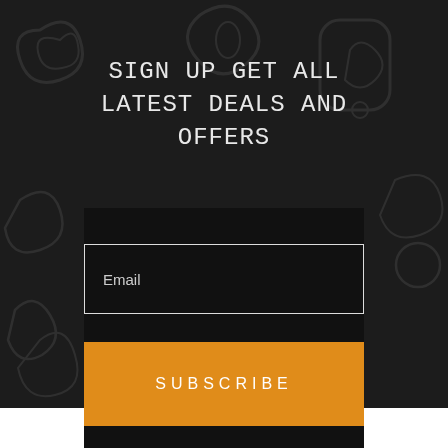SIGN UP GET ALL LATEST DEALS AND OFFERS
Email
SUBSCRIBE